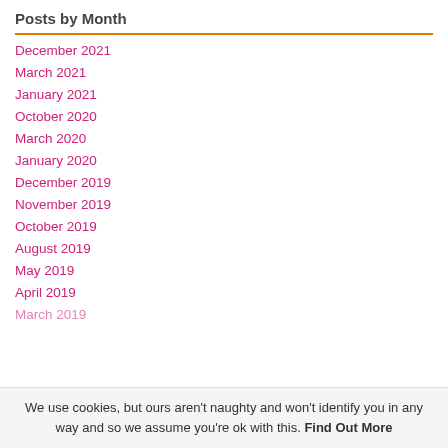Posts by Month
December 2021
March 2021
January 2021
October 2020
March 2020
January 2020
December 2019
November 2019
October 2019
August 2019
May 2019
April 2019
March 2019
We use cookies, but ours aren't naughty and won't identify you in any way and so we assume you're ok with this. Find Out More